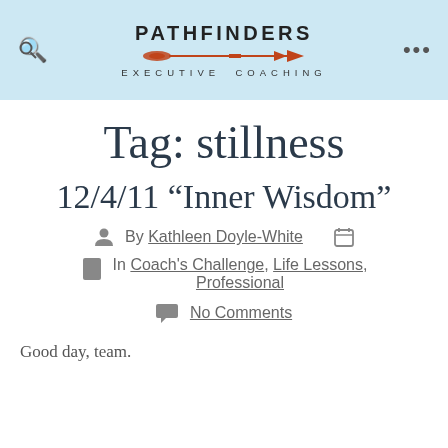PATHFINDERS EXECUTIVE COACHING
Tag: stillness
12/4/11 “Inner Wisdom”
By Kathleen Doyle-White
In Coach's Challenge, Life Lessons, Professional
No Comments
Good day, team.